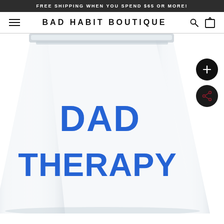FREE SHIPPING WHEN YOU SPEND $65 OR MORE!
BAD HABIT BOUTIQUE
[Figure (photo): A clear pint glass with bold blue text reading 'DAD THERAPY' on a white background. The glass is partially cropped showing the upper and middle portion. Two circular dark buttons appear on the right side: a plus/add button and a share button.]